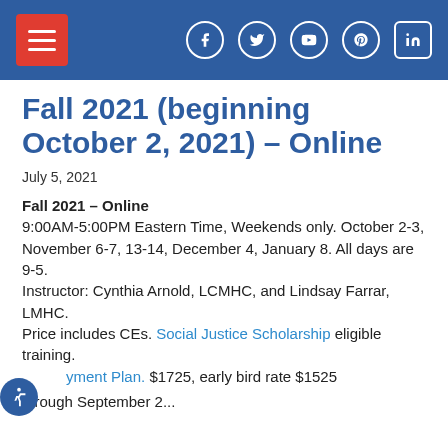[Navigation header with hamburger menu and social icons: Facebook, Twitter, YouTube, Pinterest, LinkedIn]
Fall 2021 (beginning October 2, 2021) – Online
July 5, 2021
Fall 2021 – Online
9:00AM-5:00PM Eastern Time, Weekends only. October 2-3, November 6-7, 13-14, December 4, January 8. All days are 9-5.
Instructor: Cynthia Arnold, LCMHC, and Lindsay Farrar, LMHC.
Price includes CEs. Social Justice Scholarship eligible training.
Payment Plan. $1725, early bird rate $1525 through September 2...